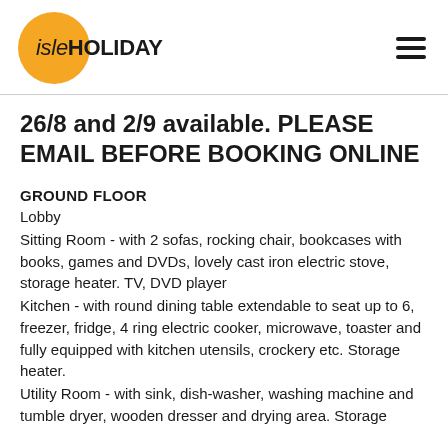isleHOLIDAY
26/8 and 2/9 available. PLEASE EMAIL BEFORE BOOKING ONLINE
GROUND FLOOR
Lobby
Sitting Room - with 2 sofas, rocking chair, bookcases with books, games and DVDs, lovely cast iron electric stove, storage heater. TV, DVD player
Kitchen - with round dining table extendable to seat up to 6, freezer, fridge, 4 ring electric cooker, microwave, toaster and fully equipped with kitchen utensils, crockery etc. Storage heater.
Utility Room - with sink, dish-washer, washing machine and tumble dryer, wooden dresser and drying area. Storage